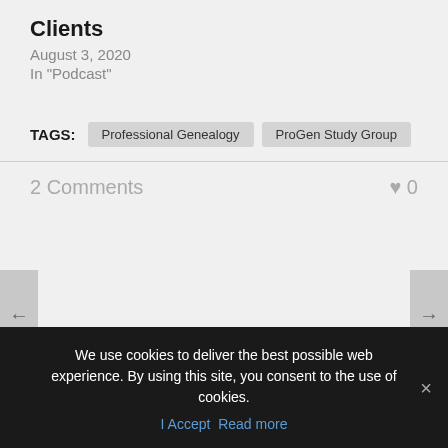Clients
August 3, 2020
In "Podcast"
TAGS:  Professional Genealogy  ProGen Study Group
2 Comments  ♥ 0
About Nicole Dyer
Nicole Dyer is a professional genealogist,
We use cookies to deliver the best possible web experience. By using this site, you consent to the use of cookies.
I Accept  Read more